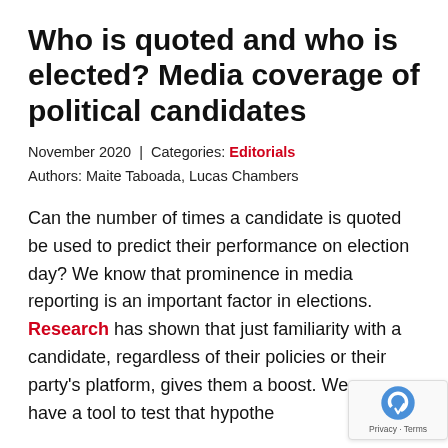Who is quoted and who is elected? Media coverage of political candidates
November 2020 | Categories: Editorials
Authors: Maite Taboada, Lucas Chambers
Can the number of times a candidate is quoted be used to predict their performance on election day? We know that prominence in media reporting is an important factor in elections. Research has shown that just familiarity with a candidate, regardless of their policies or their party's platform, gives them a boost. We now have a tool to test that hypothe…
Thanks to the Gender Gap Tracker, we have…